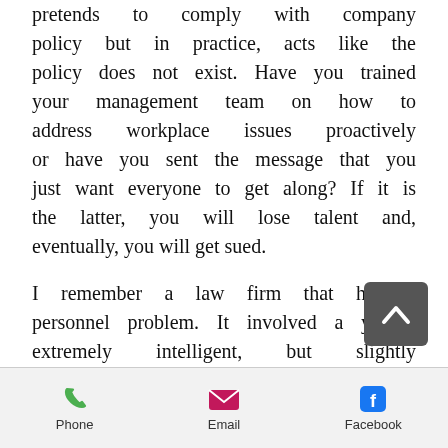pretends to comply with company policy but in practice, acts like the policy does not exist. Have you trained your management team on how to address workplace issues proactively or have you sent the message that you just want everyone to get along? If it is the latter, you will lose talent and, eventually, you will get sued.
I remember a law firm that had a personnel problem. It involved a young, extremely intelligent, but slightly abrasive paralegal. Rather than address the problem and provide coaching, the firm managers decided to “let it ride.” The problem, between
[Figure (other): Scroll-to-top button (dark gray rounded square with upward chevron arrow)]
Phone   Email   Facebook